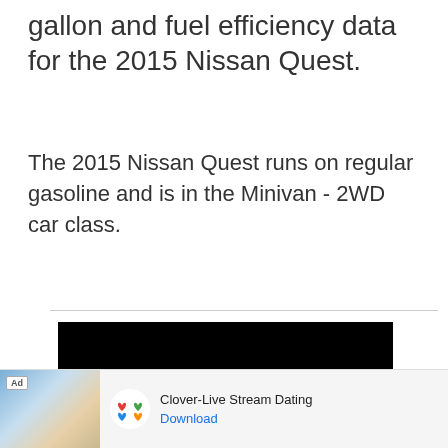gallon and fuel efficiency data for the 2015 Nissan Quest.
The 2015 Nissan Quest runs on regular gasoline and is in the Minivan - 2WD car class.
[Figure (other): Black video player with a white play button triangle in the center]
[Figure (other): Advertisement banner for Clover-Live Stream Dating app with beach photo, app icon, title text, and Download link]